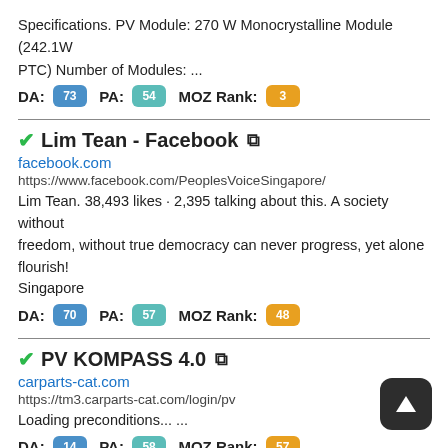Specifications. PV Module: 270 W Monocrystalline Module (242.1W PTC) Number of Modules: ...
DA: 73  PA: 54  MOZ Rank: 3
✓Lim Tean - Facebook 🔗
facebook.com
https://www.facebook.com/PeoplesVoiceSingapore/
Lim Tean. 38,493 likes · 2,395 talking about this. A society without freedom, without true democracy can never progress, yet alone flourish! Singapore
DA: 70  PA: 57  MOZ Rank: 48
✓PV KOMPASS 4.0 🔗
carparts-cat.com
https://tm3.carparts-cat.com/login/pv
Loading preconditions... ...
DA: 14  PA: 58  MOZ Rank: 57